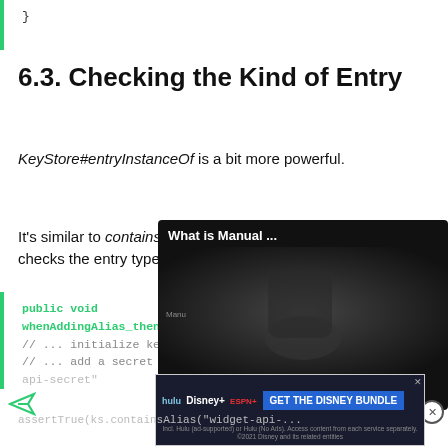}
6.3. Checking the Kind of Entry
KeyStore#entryInstanceOf is a bit more powerful.
It's similar to containsAlias but also checks the entry type:
[Figure (screenshot): Video overlay showing 'What is Manual ...' with a play button on dark background]
public void whenAddingAlias_thenCan...
    // ... initialize keystore
    // ... add a secret entry called "widget-api-secret"
[Figure (screenshot): Advertisement banner for Disney Bundle with Hulu, Disney+, ESPN+ logos]
assertTrue(ks.containsAlias("widget-api-..."